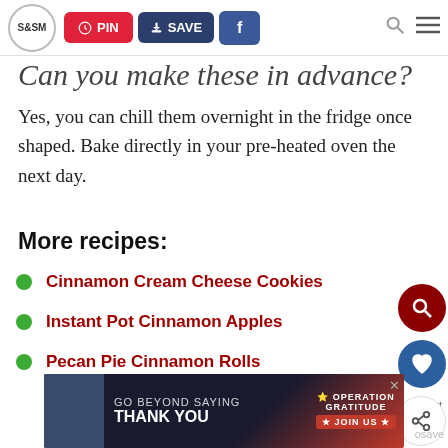S&SM | PIN | SAVE | f | [search] [menu]
Can you make these in advance?
Yes, you can chill them overnight in the fridge once shaped. Bake directly in your pre-heated oven the next day.
More recipes:
Cinnamon Cream Cheese Cookies
Instant Pot Cinnamon Apples
Pecan Pie Cinnamon Rolls
[Figure (other): Advertisement banner: GO BEYOND SAYING THANK YOU - Operation Gratitude JOIN US]